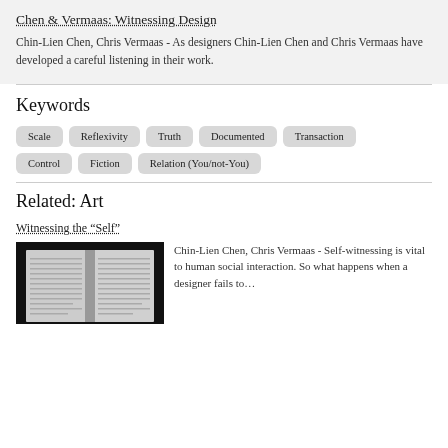Chen & Vermaas: Witnessing Design
Chin-Lien Chen, Chris Vermaas - As designers Chin-Lien Chen and Chris Vermaas have developed a careful listening in their work.
Keywords
Scale
Reflexivity
Truth
Documented
Transaction
Control
Fiction
Relation (You/not-You)
Related: Art
Witnessing the “Self”
[Figure (photo): Open book with text pages, dark background]
Chin-Lien Chen, Chris Vermaas - Self-witnessing is vital to human social interaction. So what happens when a designer fails to…